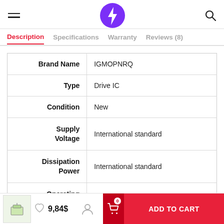Navigation header with hamburger menu, lightning bolt logo, and search icon
Description | Specifications | Warranty | Reviews (8)
| Property | Value |
| --- | --- |
| Brand Name | IGMOPNRQ |
| Type | Drive IC |
| Condition | New |
| Supply Voltage | International standard |
| Dissipation Power | International standard |
| Operating Temperature | International standard |
9,84$ | ADD TO CART